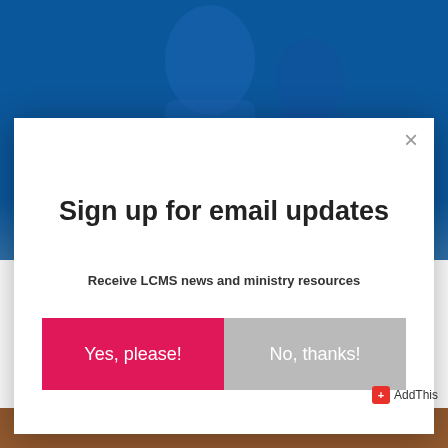[Figure (photo): Blue-tinted background image showing two people, with text 'SEVEN MISSION' and partial 'PRIORITIES' visible below]
Sign up for email updates
Receive LCMS news and ministry resources
[Figure (infographic): Modal dialog with two buttons: 'Yes, please!' (pink/red) and 'No, thanks!' (grey)]
[Figure (photo): Bottom strip showing partial photograph]